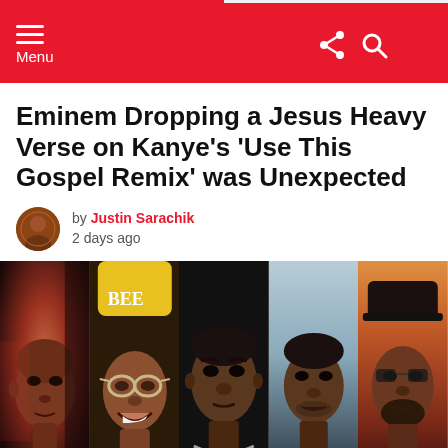Menu
Eminem Dropping a Jesus Heavy Verse on Kanye's 'Use This Gospel Remix' was Unexpected
by Justin Sarachik
2 days ago
[Figure (photo): Collage of five people's faces side by side: a dark-lit face with red/magenta tones, a person with a yellow cap and round glasses smiling, a person with chain necklace looking straight ahead, a person with lighter background, and a person against a sunset backdrop.]